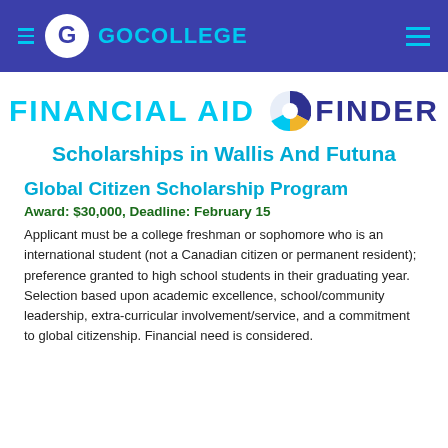GoCollege — Financial Aid Finder
[Figure (logo): Financial Aid Finder logo with pie chart icon, cyan and dark blue text]
Scholarships in Wallis And Futuna
Global Citizen Scholarship Program
Award: $30,000, Deadline: February 15
Applicant must be a college freshman or sophomore who is an international student (not a Canadian citizen or permanent resident); preference granted to high school students in their graduating year. Selection based upon academic excellence, school/community leadership, extra-curricular involvement/service, and a commitment to global citizenship. Financial need is considered.